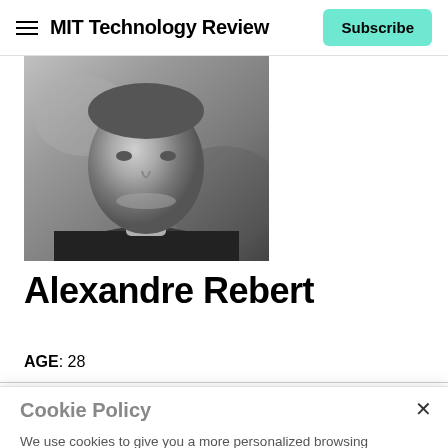MIT Technology Review — Subscribe
[Figure (photo): Black and white portrait photo of Alexandre Rebert, showing face and upper body, smiling slightly]
Alexandre Rebert
AGE: 28
Cookie Policy
We use cookies to give you a more personalized browsing experience and analyze site traffic. See our cookie policy
Accept all cookies
Cookies settings